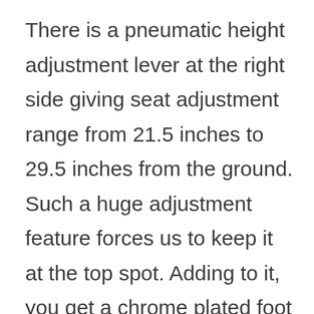There is a pneumatic height adjustment lever at the right side giving seat adjustment range from 21.5 inches to 29.5 inches from the ground. Such a huge adjustment feature forces us to keep it at the top spot. Adding to it, you get a chrome plated foot ring as a base to avoid your legs from hanging. Summing all the